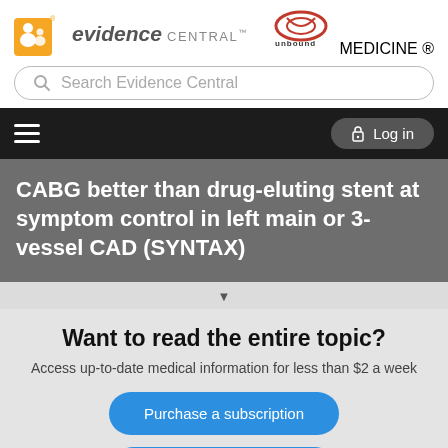evidence CENTRAL™ — Unbound Medicine
Search Evidence Central
CABG better than drug-eluting stent at symptom control in left main or 3-vessel CAD (SYNTAX)
Want to read the entire topic?
Access up-to-date medical information for less than $2 a week
Purchase a subscription
I'm already a subscriber
Browse sample topics